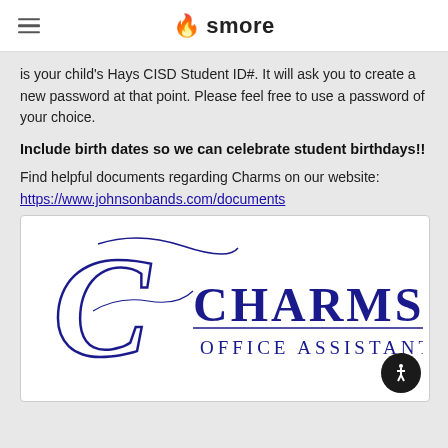smore
is your child's Hays CISD Student ID#. It will ask you to create a new password at that point. Please feel free to use a password of your choice.
Include birth dates so we can celebrate student birthdays!!
Find helpful documents regarding Charms on our website: https://www.johnsonbands.com/documents
[Figure (logo): Charms Office Assistant logo — decorative cursive letter C with the text CHARMS OFFICE ASSISTANT in navy blue serif font]